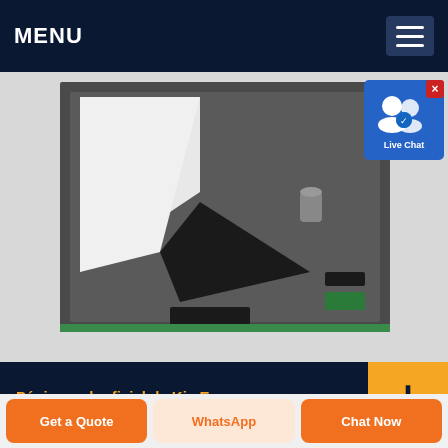MENU
[Figure (photo): Top-down view of product in dark foam packaging with small black components arranged on grey foam insert]
[Figure (screenshot): Live Chat widget button with user icon and blue background]
Página web oficial de Kia Espa...
Encuentra aquí toda la información acerca de la gama de vehículos Kia, la red de
Get a Quote
WhatsApp
Chat Now